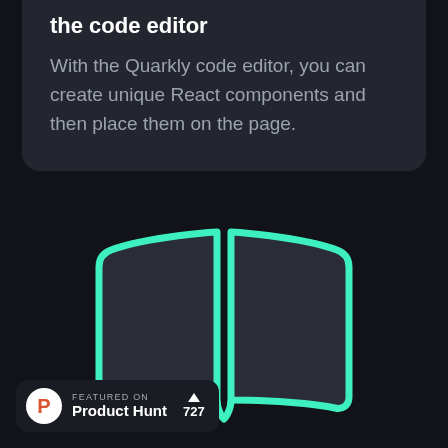the code editor
With the Quarkly code editor, you can create unique React components and then place them on the page.
[Figure (illustration): Open book icon drawn with teal/cyan outline strokes on dark background]
FEATURED ON Product Hunt 727